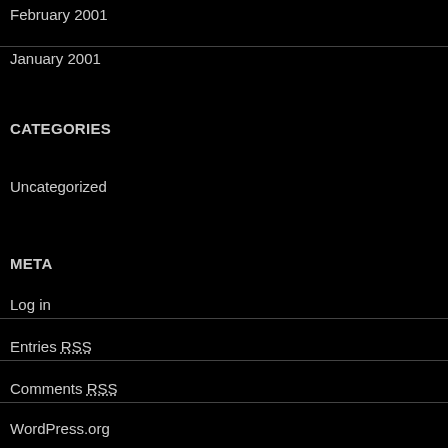February 2001
January 2001
CATEGORIES
Uncategorized
META
Log in
Entries RSS
Comments RSS
WordPress.org